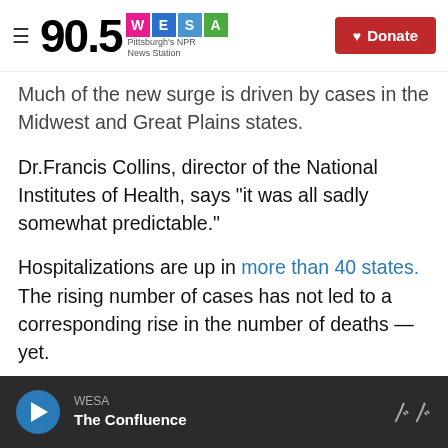90.5 WESA — Pittsburgh's NPR News Station | Donate
Much of the new surge is driven by cases in the Midwest and Great Plains states.
Dr.Francis Collins, director of the National Institutes of Health, says "it was all sadly somewhat predictable."
Hospitalizations are up in more than 40 states. The rising number of cases has not led to a corresponding rise in the number of deaths — yet.
But Collins tells NPR's Steve Inskeep on Morning Edition that an increase in the number of fatalities will soon follow, as it has previously when cases
WESA — The Confluence